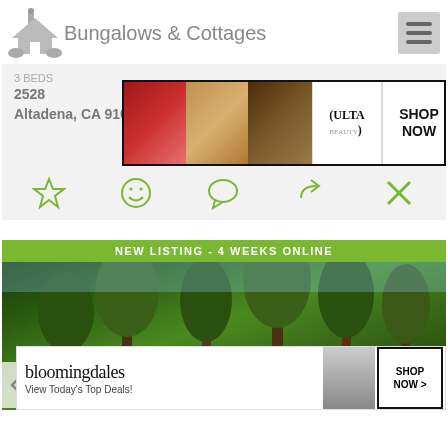Bungalows & Cottages
3 BEDS
2528
Altadena, CA 91001
[Figure (screenshot): ULTA beauty advertisement banner showing makeup images and SHOP NOW button]
[Figure (infographic): Action bar with star, smiley, chat, share, and close icons]
NEW LISTING - 4 WEEKS ONLINE
[Figure (photo): Exterior photo of a property with trees in front, green listing banner. Bloomingdales SHOP NOW ad overlay and CLOSE button visible.]